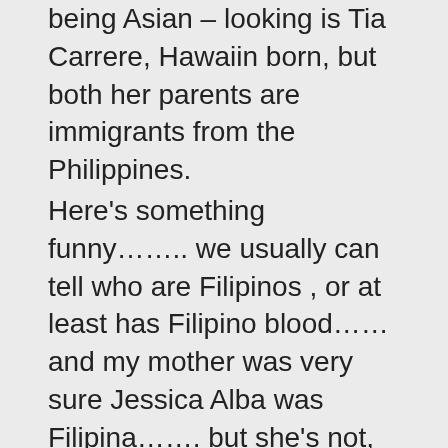being Asian – looking is Tia Carrere, Hawaiin born, but both her parents are immigrants from the Philippines.
Here's something funny…….. we usually can tell who are Filipinos , or at least has Filipino blood…… and my mother was very sure Jessica Alba was Filipina……. but she's not, but the funny thing about her is, in her TV show ( before she became a Hollywood star ) , Dark Angel, she